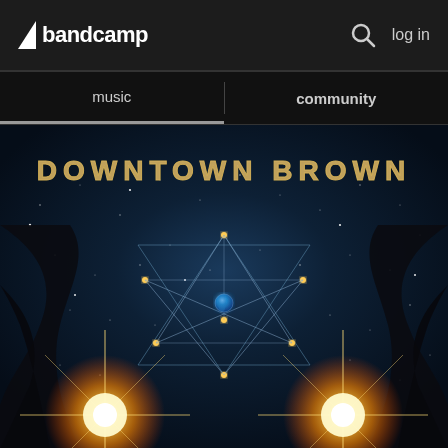bandcamp  log in
music | community
[Figure (illustration): Downtown Brown album art: dark cosmic illustration featuring stylized text 'DOWNTOWN BROWN' at top in gold/silver runic letters, a star-filled space background with a glowing geometric star pattern and earth in the center, dark wing-like figures at the sides, and two large golden starburst flares at the bottom left and right corners.]